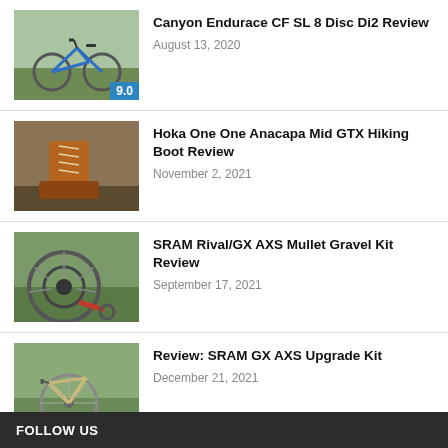Canyon Endurace CF SL 8 Disc Di2 Review — August 13, 2020
Hoka One One Anacapa Mid GTX Hiking Boot Review — November 2, 2021
SRAM Rival/GX AXS Mullet Gravel Kit Review — September 17, 2021
Review: SRAM GX AXS Upgrade Kit — December 21, 2021
FOLLOW US